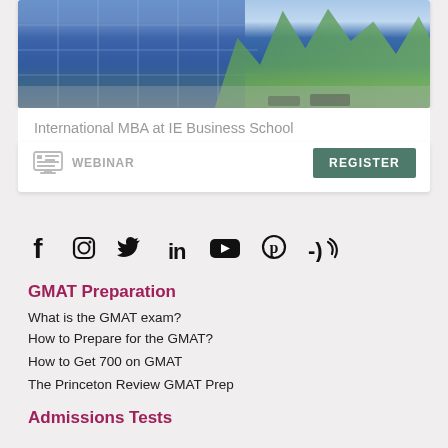[Figure (photo): Aerial or street-level photo of IE Business School campus with trees and blue glass building facade]
International MBA at IE Business School
WEBINAR
REGISTER
[Figure (infographic): Social media icons: Facebook, Instagram, Twitter, LinkedIn, YouTube, Pinterest, and accessibility/hearing icon]
GMAT Preparation
What is the GMAT exam?
How to Prepare for the GMAT?
How to Get 700 on GMAT
The Princeton Review GMAT Prep
Admissions Tests